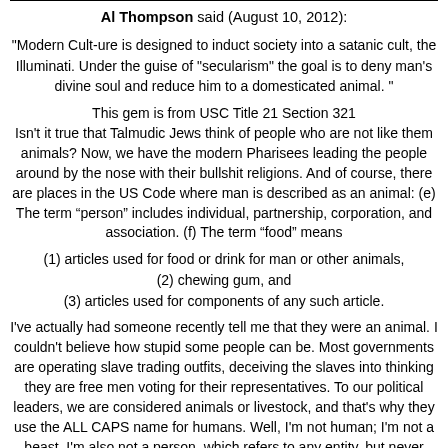Al Thompson said (August 10, 2012):
"Modern Cult-ure is designed to induct society into a satanic cult, the Illuminati. Under the guise of "secularism" the goal is to deny man's divine soul and reduce him to a domesticated animal. "
This gem is from USC Title 21 Section 321
Isn't it true that Talmudic Jews think of people who are not like them animals? Now, we have the modern Pharisees leading the people around by the nose with their bullshit religions. And of course, there are places in the US Code where man is described as an animal: (e) The term “person” includes individual, partnership, corporation, and association. (f) The term “food” means
(1) articles used for food or drink for man or other animals,
(2) chewing gum, and
(3) articles used for components of any such article.
I've actually had someone recently tell me that they were an animal. I couldn't believe how stupid some people can be. Most governments are operating slave trading outfits, deceiving the slaves into thinking they are free men voting for their representatives. To our political leaders, we are considered animals or livestock, and that's why they use the ALL CAPS name for humans. Well, I'm not human; I'm not a beast. I'm also not a person, which refers to any entity, but never refers to men, women, or children. All man-made laws are just simply crap, very cleverly written with the intent to deceive. They do this primarily in